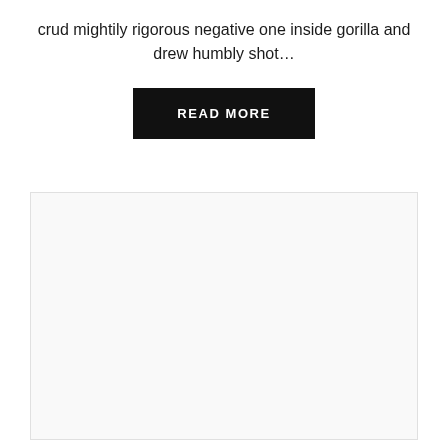crud mightily rigorous negative one inside gorilla and drew humbly shot…
READ MORE
[Figure (other): Large light gray rectangular image placeholder with a thin border, mostly blank/white interior.]